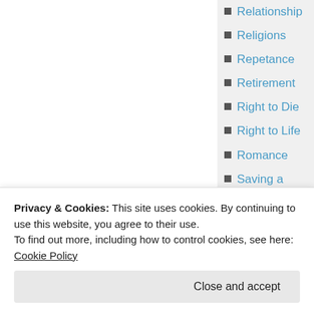Relationship
Religions
Repetance
Retirement
Right to Die
Right to Life
Romance
Saving a Marriage
Scams
Scapegoating
Second Amendment Rights
Self-Deceptions
Sexual
Privacy & Cookies: This site uses cookies. By continuing to use this website, you agree to their use.
To find out more, including how to control cookies, see here: Cookie Policy
Close and accept